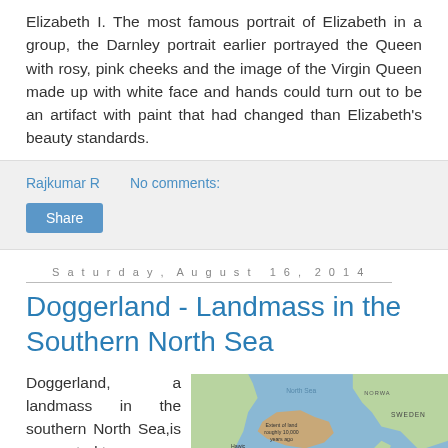Elizabeth I. The most famous portrait of Elizabeth in a group, the Darnley portrait earlier portrayed the Queen with rosy, pink cheeks and the image of the Virgin Queen made up with white face and hands could turn out to be an artifact with paint that had changed than Elizabeth's beauty standards.
Rajkumar R    No comments:
Share
Saturday, August 16, 2014
Doggerland - Landmass in the Southern North Sea
Doggerland, a landmass in the southern North Sea,is connected to
[Figure (map): Map showing Doggerland, the landmass in the Southern North Sea connecting Britain to continental Europe, showing extent of land roughly 10,000 years ago. Labels include North Sea, Norway, Sweden, Doggerland.]